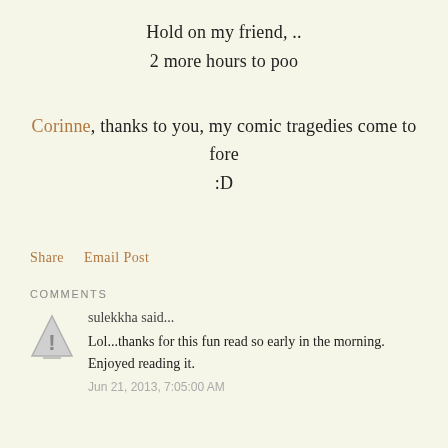Hold on my friend, ..
2 more hours to poo
Corinne, thanks to you, my comic tragedies come to fore
:D
Share   Email Post
COMMENTS
[Figure (illustration): Triangle warning icon used as comment avatar]
sulekkha said...
Lol...thanks for this fun read so early in the morning. Enjoyed reading it.
Jun 21, 2013, 7:05:00 AM